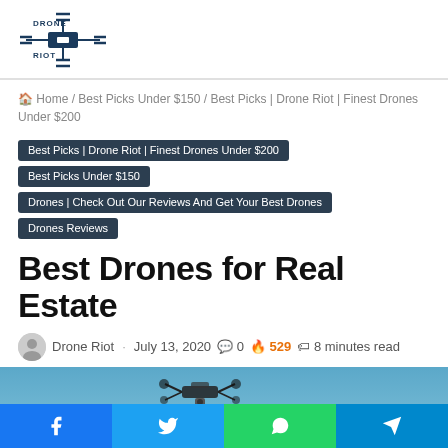[Figure (logo): Drone Riot logo — drone icon with text DRONE RIOT in dark blue]
Home / Best Picks Under $150 / Best Picks | Drone Riot | Finest Drones Under $200
Best Picks | Drone Riot | Finest Drones Under $200
Best Picks Under $150
Drones | Check Out Our Reviews And Get Your Best Drones
Drones Reviews
Best Drones for Real Estate
Drone Riot · July 13, 2020  0  529  8 minutes read
[Figure (photo): Drone flying in blue sky with green foreground]
[Figure (infographic): Social share bar with Facebook, Twitter, WhatsApp, Telegram buttons]